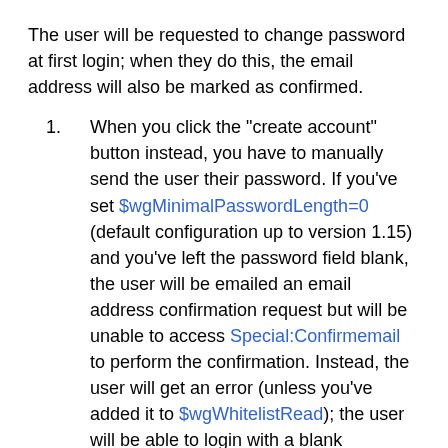The user will be requested to change password at first login; when they do this, the email address will also be marked as confirmed.
When you click the "create account" button instead, you have to manually send the user their password. If you've set $wgMinimalPasswordLength=0 (default configuration up to version 1.15) and you've left the password field blank, the user will be emailed an email address confirmation request but will be unable to access Special:Confirmemail to perform the confirmation. Instead, the user will get an error (unless you've added it to $wgWhitelistRead); the user will be able to login with a blank password and then confirm email, but their password will not have been reset (it will have to be reset manually).